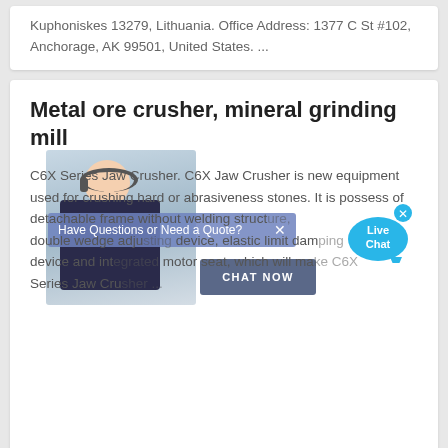Kuphoniskes 13279, Lithuania. Office Address: 1377 C St #102, Anchorage, AK 99501, United States. ...
Metal ore crusher, mineral grinding mill
C6X Series Jaw Crusher. C6X Jaw Crusher is new equipment used for crushing hard or abrasiveness stones. It is possess of detachable frame without welding structure, double wedge adjusting device, elastic limit damping device and integrated motor seat, which will make C6X Series Jaw Crusher ...
[Figure (screenshot): Live chat overlay with a customer service representative image, a 'Have Questions or Need a Quote?' banner with a CHAT NOW button, and a Live Chat speech bubble icon in blue.]
Metal Mining Equipment
Tanzania Crusher>>Metal Mining Equipment The XSM Shanghai is a professional stone crusher, mill, mine equipment production line of professional equipment manufacturers in China, if you have any need online